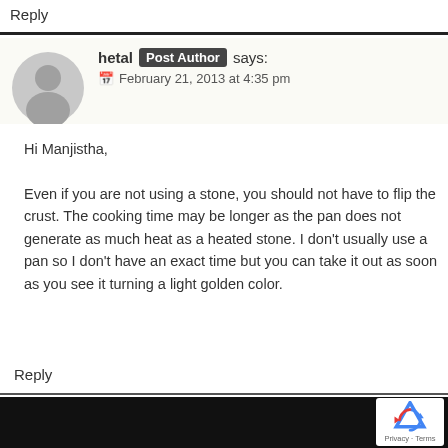Reply
hetal Post Author says:
📅 February 21, 2013 at 4:35 pm
Hi Manjistha,

Even if you are not using a stone, you should not have to flip the crust. The cooking time may be longer as the pan does not generate as much heat as a heated stone. I don't usually use a pan so I don't have an exact time but you can take it out as soon as you see it turning a light golden color.
Reply